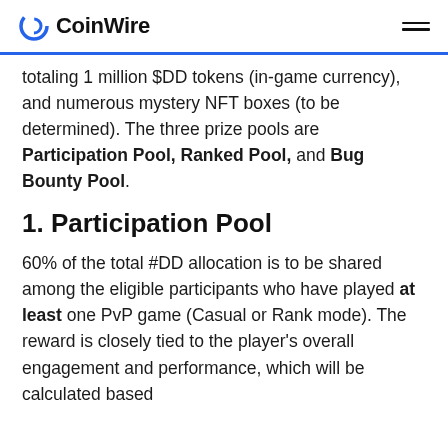CoinWire
totaling 1 million $DD tokens (in-game currency), and numerous mystery NFT boxes (to be determined). The three prize pools are Participation Pool, Ranked Pool, and Bug Bounty Pool.
1. Participation Pool
60% of the total #DD allocation is to be shared among the eligible participants who have played at least one PvP game (Casual or Rank mode). The reward is closely tied to the player's overall engagement and performance, which will be calculated based